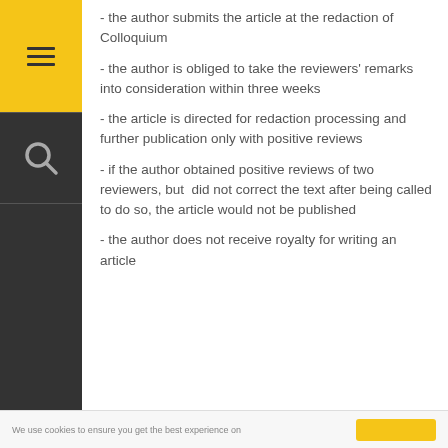- the author submits the article at the redaction of Colloquium
- the author is obliged to take the reviewers' remarks into consideration within three weeks
- the article is directed for redaction processing and further publication only with positive reviews
- if the author obtained positive reviews of two reviewers, but did not correct the text after being called to do so, the article would not be published
- the author does not receive royalty for writing an article
We use cookies to ensure you get the best experience on